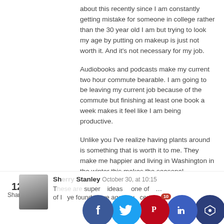about this recently since I am constantly getting mistake for someone in college rather than the 30 year old I am but trying to look my age by putting on makeup is just not worth it. And it's not necessary for my job.
Audiobooks and podcasts make my current two hour commute bearable. I am going to be leaving my current job because of the commute but finishing at least one book a week makes it feel like I am being productive.
Unlike you I've realize having plants around is something that is worth it to me. They make me happier and living in Washington in the winter this makes the seasonal depression easier for a girl born in the Sunshine State.
All of your advice on schedules is a great help to someone still trying to figure out their routine.
Thanks Mrs. Frugalwoods!
Reply
Sh__ Stanley  October 30,   at 10:15
T__ super ideas__ one of__ and s__ of I__ ye found a__ ye aged ou__ certain po__ (kids in